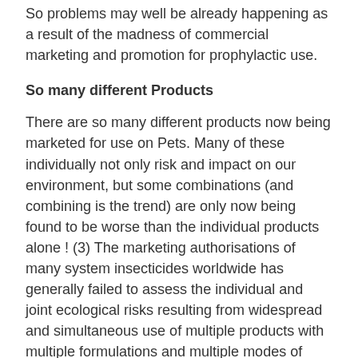So problems may well be already happening as a result of the madness of commercial marketing and promotion for prophylactic use.
So many different Products
There are so many different products now being marketed for use on Pets. Many of these individually not only risk and impact on our environment, but some combinations (and combining is the trend) are only now being found to be worse than the individual products alone ! (3) The marketing authorisations of many system insecticides worldwide has generally failed to assess the individual and joint ecological risks resulting from widespread and simultaneous use of multiple products with multiple formulations and multiple modes of action. Nor has it considered the impact of the multiple uses in multiple industries, of which the Vet component is but a player in the build-up of cumulative toxicity. (27)
Many of the Veterinary used products are chemicals now found in all environments, including in livestock, but